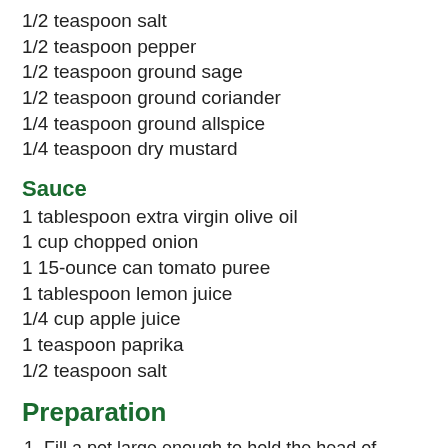1/2 teaspoon salt
1/2 teaspoon pepper
1/2 teaspoon ground sage
1/2 teaspoon ground coriander
1/4 teaspoon ground allspice
1/4 teaspoon dry mustard
Sauce
1 tablespoon extra virgin olive oil
1 cup chopped onion
1 15-ounce can tomato puree
1 tablespoon lemon juice
1/4 cup apple juice
1 teaspoon paprika
1/2 teaspoon salt
Preparation
Fill a pot large enough to hold the head of cabbage with as much water as you can while leaving enough room to add the cabbage, and bring the water to a boil. While the pot heats up, you can mix if not trim